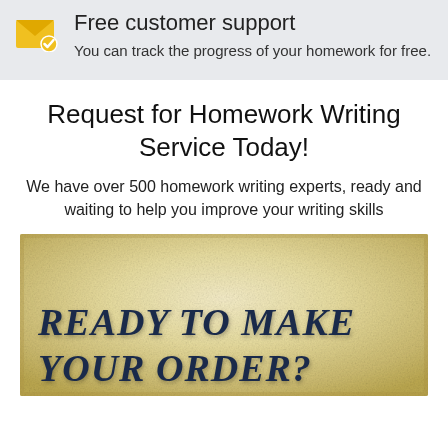[Figure (illustration): Yellow envelope icon with a gold checkmark badge on the bottom-right corner]
Free customer support
You can track the progress of your homework for free.
Request for Homework Writing Service Today!
We have over 500 homework writing experts, ready and waiting to help you improve your writing skills
[Figure (illustration): Parchment-textured background with bold italic dark blue serif text reading READY TO MAKE YOUR ORDER?]